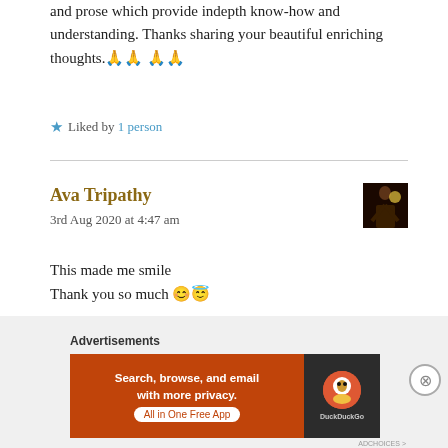and prose which provide indepth know-how and understanding. Thanks sharing your beautiful enriching thoughts.🙏🙏 🙏🙏
★ Liked by 1 person
Ava Tripathy
3rd Aug 2020 at 4:47 am
This made me smile
Thank you so much 😊😇
★ Like
Advertisements
[Figure (screenshot): DuckDuckGo advertisement banner: orange background with text 'Search, browse, and email with more privacy. All in One Free App' and DuckDuckGo logo on dark background]